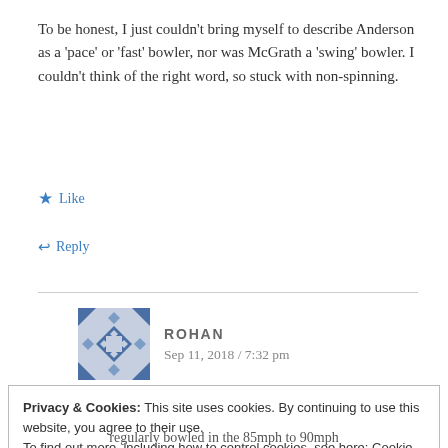To be honest, I just couldn't bring myself to describe Anderson as a 'pace' or 'fast' bowler, nor was McGrath a 'swing' bowler. I couldn't think of the right word, so stuck with non-spinning.
★ Like
↩ Reply
ROHAN
Sep 11, 2018 / 7:32 pm
Privacy & Cookies: This site uses cookies. By continuing to use this website, you agree to their use.
To find out more, including how to control cookies, see here: Cookie Policy
Close and accept
regularly bowled in the 85mph to 90mph